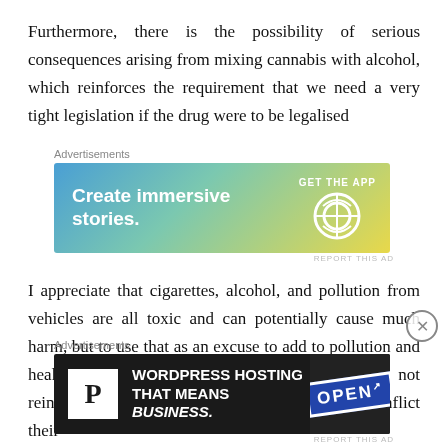Furthermore, there is the possibility of serious consequences arising from mixing cannabis with alcohol, which reinforces the requirement that we need a very tight legislation if the drug were to be legalised
[Figure (other): Advertisement banner: WordPress.com 'Create immersive stories. GET THE APP' with WordPress logo, gradient blue-green-yellow background]
I appreciate that cigarettes, alcohol, and pollution from vehicles are all toxic and can potentially cause much harm, but to use that as an excuse to add to pollution and health risks, is a very weak argument, and does not reinforce why a person has the right to selfishly inflict their
[Figure (other): Advertisement banner: WordPress Hosting 'WORDPRESS HOSTING THAT MEANS BUSINESS.' with P logo and OPEN sign photo]